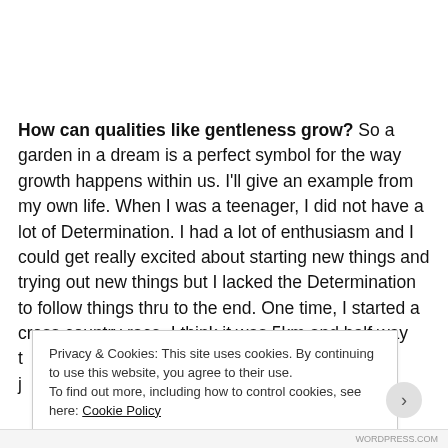How can qualities like gentleness grow? So a garden in a dream is a perfect symbol for the way growth happens within us. I'll give an example from my own life. When I was a teenager, I did not have a lot of Determination. I had a lot of enthusiasm and I could get really excited about starting new things and trying out new things but I lacked the Determination to follow things thru to the end. One time, I started a cross country race, I think it was 5km and half way t... j...
Privacy & Cookies: This site uses cookies. By continuing to use this website, you agree to their use.
To find out more, including how to control cookies, see here: Cookie Policy
Close and accept